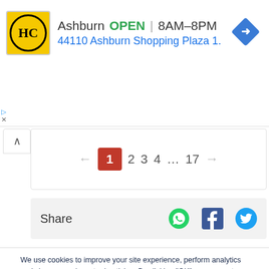[Figure (screenshot): HC logo - yellow circle with HC text on yellow background]
Ashburn  OPEN  |  8AM–8PM
44110 Ashburn Shopping Plaza 1.
[Figure (illustration): Blue diamond navigation arrow icon]
▲  ▷  ✕
← 1 2 3 4 … 17 →
Share
[Figure (illustration): WhatsApp, Facebook, Twitter share icons]
We use cookies to improve your site experience, perform analytics and show you relevant advertising. By clicking "OK", you agree to the storing of cookies on your device. View our Privacy Portal  Cookie Policy &  Cookie FAQs
OK